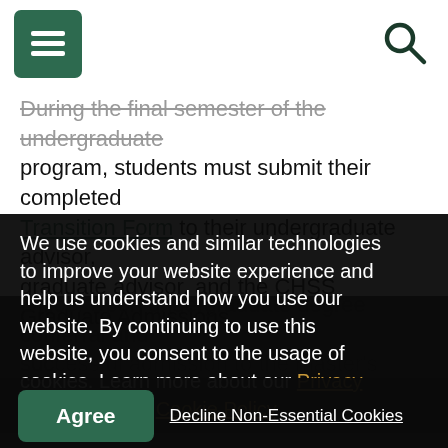[Menu icon] [Search icon]
During the final semester of the undergraduate program, students must submit their completed Transition Form to their undergraduate advisor, graduate advisor, and the CHSS Graduate Admissions Office. Upon undergraduate degree conferral and successful admission to the master's program, students will receive a letter from the Graduate Admissions Office for the term they are taking graduate courses from their last undergraduate semester. This letter confirms your preference as the master's student. In addition, your undergraduate graduation type will transfer to your master's degree. You will be subject to all graduate requirements.
Accelerated master's students count graduate from
We use cookies and similar technologies to improve your website experience and help us understand how you use our website. By continuing to use this website, you consent to the usage of cookies. Learn more about our Privacy Statement and Cookie Policy.
Agree
Decline Non-Essential Cookies